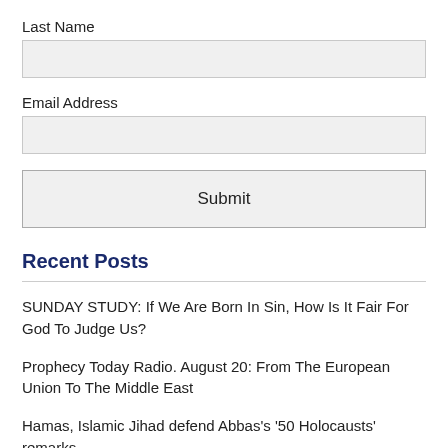Last Name
Email Address
Submit
Recent Posts
SUNDAY STUDY: If We Are Born In Sin, How Is It Fair For God To Judge Us?
Prophecy Today Radio. August 20: From The European Union To The Middle East
Hamas, Islamic Jihad defend Abbas's '50 Holocausts' remarks